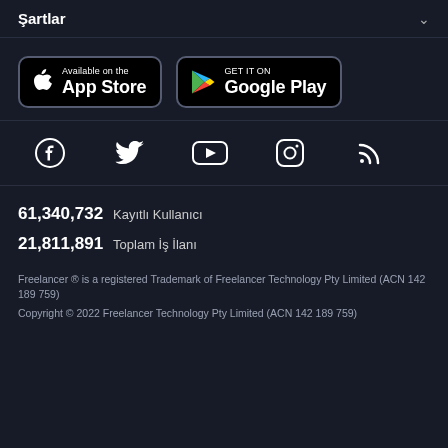Şartlar
[Figure (logo): App Store and Google Play download badges]
[Figure (illustration): Social media icons: Facebook, Twitter, YouTube, Instagram, RSS]
61,340,732  Kayıtlı Kullanıcı
21,811,891  Toplam İş İlanı
Freelancer ® is a registered Trademark of Freelancer Technology Pty Limited (ACN 142 189 759)
Copyright © 2022 Freelancer Technology Pty Limited (ACN 142 189 759)